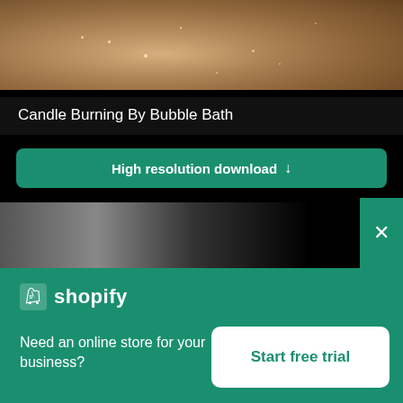[Figure (photo): Close-up photo of a candle burning by bubble bath, warm glittery sandy texture visible]
Candle Burning By Bubble Bath
[Figure (other): Download button: High resolution download with down arrow]
[Figure (photo): Partial second photo thumbnail showing dark moody scene]
[Figure (screenshot): Shopify advertisement banner with logo, text 'Need an online store for your business?' and 'Start free trial' button]